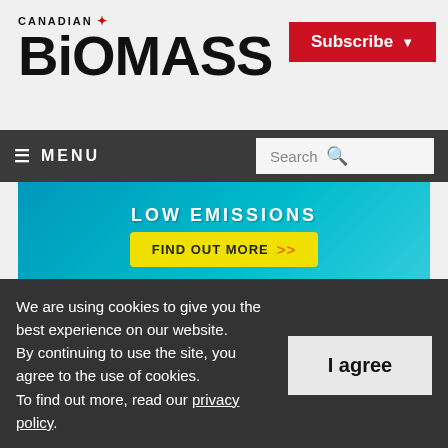CANADIAN BIOMASS
[Figure (screenshot): Banner advertisement with teal/blue background showing text 'LOW EMISSIONS' and a yellow 'FIND OUT MORE >>' button]
Editor's Picks
Premium expansion: BC pellet plant ups production, takes on big-log processing
We are using cookies to give you the best experience on our website. By continuing to use the site, you agree to the use of cookies. To find out more, read our privacy policy.